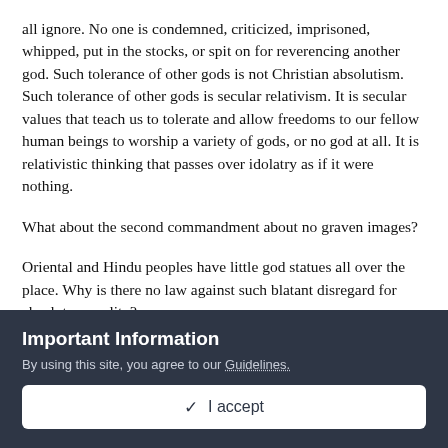all ignore. No one is condemned, criticized, imprisoned, whipped, put in the stocks, or spit on for reverencing another god. Such tolerance of other gods is not Christian absolutism. Such tolerance of other gods is secular relativism. It is secular values that teach us to tolerate and allow freedoms to our fellow human beings to worship a variety of gods, or no god at all. It is relativistic thinking that passes over idolatry as if it were nothing.
What about the second commandment about no graven images?
Oriental and Hindu peoples have little god statues all over the place. Why is there no law against such blatant disregard for absolute morality?
Commandment III: Taking the name of the Lord in vain.
Important Information
By using this site, you agree to our Guidelines.
✔ I accept